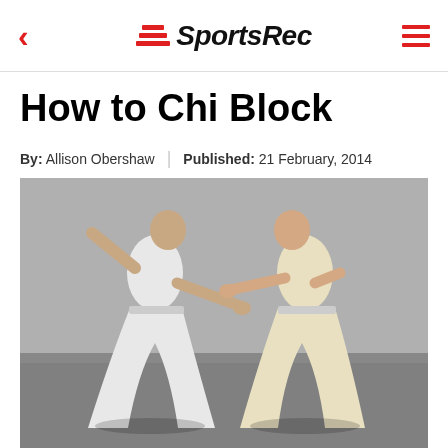SportsRec
How to Chi Block
By: Allison Obershaw | Published: 21 February, 2014
[Figure (photo): Two martial artists in white clothing practicing chi blocking technique in a studio, facing each other in wide stances with arms extended]